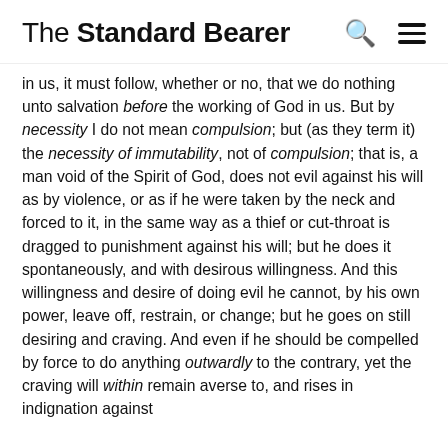The Standard Bearer
in us, it must follow, whether or no, that we do nothing unto salvation before the working of God in us. But by necessity I do not mean compulsion; but (as they term it) the necessity of immutability, not of compulsion; that is, a man void of the Spirit of God, does not evil against his will as by violence, or as if he were taken by the neck and forced to it, in the same way as a thief or cut-throat is dragged to punishment against his will; but he does it spontaneously, and with desirous willingness. And this willingness and desire of doing evil he cannot, by his own power, leave off, restrain, or change; but he goes on still desiring and craving. And even if he should be compelled by force to do anything outwardly to the contrary, yet the craving will within remain averse to, and rises in indignation against